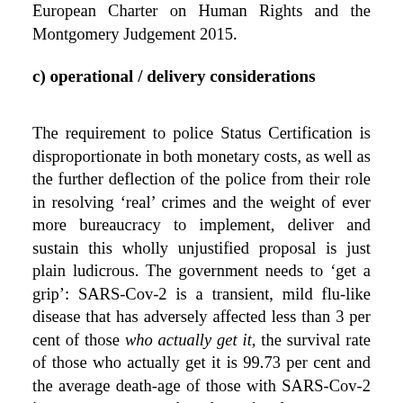European Charter on Human Rights and the Montgomery Judgement 2015.
c) operational / delivery considerations
The requirement to police Status Certification is disproportionate in both monetary costs, as well as the further deflection of the police from their role in resolving ‘real’ crimes and the weight of ever more bureaucracy to implement, deliver and sustain this wholly unjustified proposal is just plain ludicrous. The government needs to ‘get a grip’: SARS-Cov-2 is a transient, mild flu-like disease that has adversely affected less than 3 per cent of those who actually get it, the survival rate of those who actually get it is 99.73 per cent and the average death-age of those with SARS-Cov-2 is two years greater than the national average age of death. This proposal is unsustainable given the evidence of